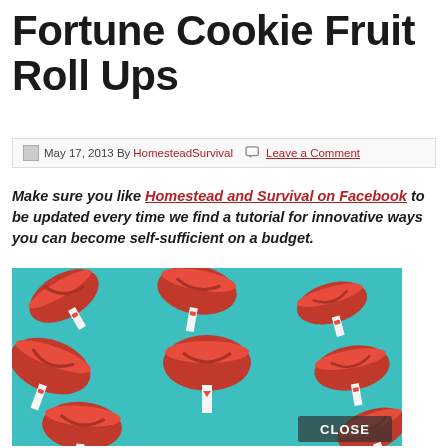Fortune Cookie Fruit Roll Ups
May 17, 2013 By HomesteadSurvival  Leave a Comment
Make sure you like Homestead and Survival on Facebook to be updated every time we find a tutorial for innovative ways you can become self-sufficient on a budget.
[Figure (photo): Red fruit roll-up fortune cookies arranged on a teal background, each with a small white paper slip with a red heart, and a CLOSE button overlay in the bottom right.]